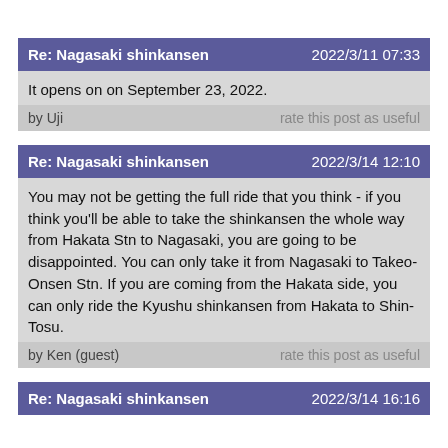Re: Nagasaki shinkansen | 2022/3/11 07:33
It opens on on September 23, 2022.
by Uji | rate this post as useful
Re: Nagasaki shinkansen | 2022/3/14 12:10
You may not be getting the full ride that you think - if you think you'll be able to take the shinkansen the whole way from Hakata Stn to Nagasaki, you are going to be disappointed. You can only take it from Nagasaki to Takeo-Onsen Stn. If you are coming from the Hakata side, you can only ride the Kyushu shinkansen from Hakata to Shin-Tosu.
by Ken (guest) | rate this post as useful
Re: Nagasaki shinkansen | 2022/3/14 16:16